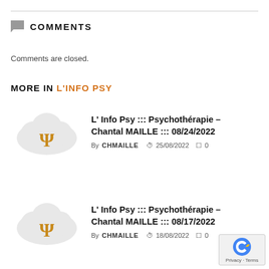COMMENTS
Comments are closed.
MORE IN L'INFO PSY
[Figure (logo): Cloud with Psi symbol icon for L'Info Psy article 1]
L' Info Psy ::: Psychothérapie – Chantal MAILLE ::: 08/24/2022
By CHMAILLE  25/08/2022  0
[Figure (logo): Cloud with Psi symbol icon for L'Info Psy article 2]
L' Info Psy ::: Psychothérapie – Chantal MAILLE ::: 08/17/2022
By CHMAILLE  18/08/2022  0